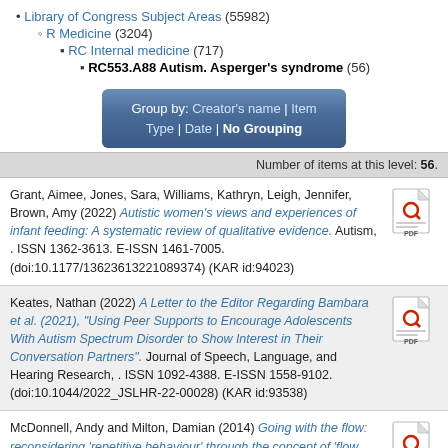Library of Congress Subject Areas (55982)
R Medicine (3204)
RC Internal medicine (717)
RC553.A88 Autism. Asperger's syndrome (56)
Group by: Creator's name | Item Type | Date | No Grouping
Number of items at this level: 56.
Grant, Aimee, Jones, Sara, Williams, Kathryn, Leigh, Jennifer, Brown, Amy (2022) Autistic women's views and experiences of infant feeding: A systematic review of qualitative evidence. Autism, . ISSN 1362-3613. E-ISSN 1461-7005. (doi:10.1177/13623613221089374) (KAR id:94023)
Keates, Nathan (2022) A Letter to the Editor Regarding Bambara et al. (2021), "Using Peer Supports to Encourage Adolescents With Autism Spectrum Disorder to Show Interest in Their Conversation Partners". Journal of Speech, Language, and Hearing Research, . ISSN 1092-4388. E-ISSN 1558-9102. (doi:10.1044/2022_JSLHR-22-00028) (KAR id:93538)
McDonnell, Andy and Milton, Damian (2014) Going with the flow: reconsidering 'repetitive behaviour' through the concept of 'flow states'. In: Jones, Glenys and Hurley, Elizabeth, eds. Good Autism Practice, autism learning...